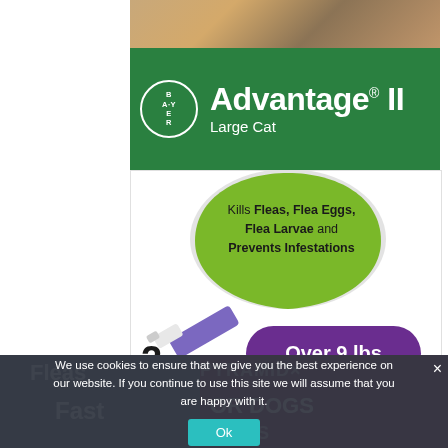[Figure (photo): Advantage II Large Cat flea treatment product box showing Bayer logo, green header, green shield with flea killing claims, purple applicator tube, '2 monthly doses', and 'Over 9 lbs' purple badge. Cat photo at top of box.]
Pin On Cat Flea Tick Control
We use cookies to ensure that we give you the best experience on our website. If you continue to use this site we will assume that you are happy with it.